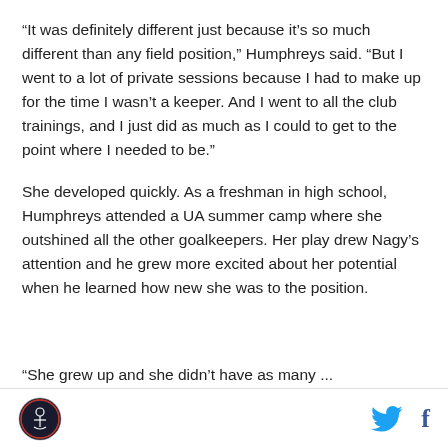“It was definitely different just because it’s so much different than any field position,” Humphreys said. “But I went to a lot of private sessions because I had to make up for the time I wasn’t a keeper. And I went to all the club trainings, and I just did as much as I could to get to the point where I needed to be.”
She developed quickly. As a freshman in high school, Humphreys attended a UA summer camp where she outshined all the other goalkeepers. Her play drew Nagy’s attention and he grew more excited about her potential when he learned how new she was to the position.
[logo] [twitter] [facebook]